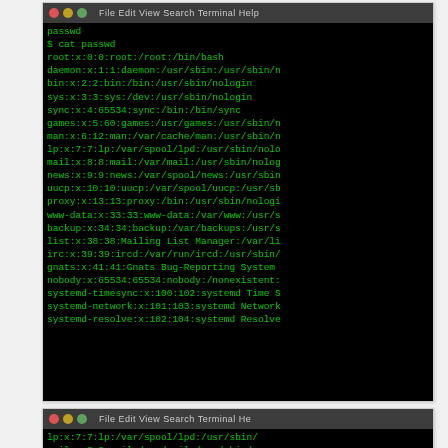[Figure (screenshot): Terminal window showing contents of /etc/passwd file with green text on black background. Commands shown: passwd, $ cat passwd, followed by system user entries.]
[Figure (screenshot): Second terminal window showing partial contents of /etc/passwd file, continuing from lp:x:7:7 entry through uucp:x:10:10 entry.]